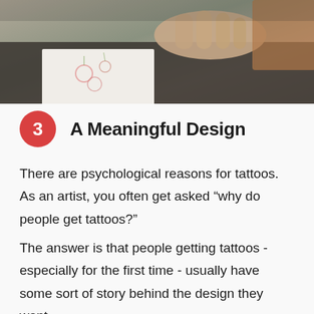[Figure (photo): Close-up photo of hands over a table with tattoo design sketches on paper, dark leather surface visible]
3  A Meaningful Design
There are psychological reasons for tattoos. As an artist, you often get asked “why do people get tattoos?”
The answer is that people getting tattoos - especially for the first time - usually have some sort of story behind the design they want.